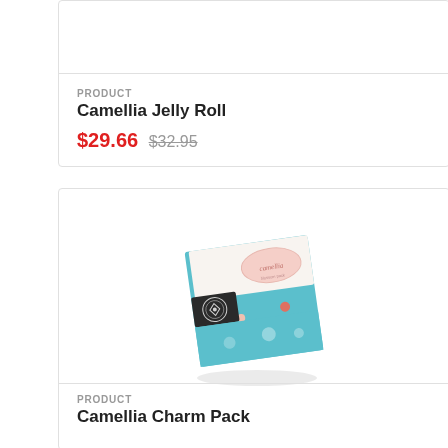PRODUCT
Camellia Jelly Roll
$29.66  $32.95
[Figure (photo): Camellia Charm Pack fabric product photo showing a stacked square of blue/teal floral patterned fabric with a label on top]
PRODUCT
Camellia Charm Pack